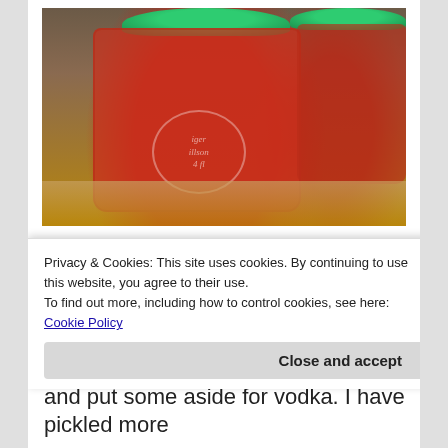[Figure (photo): Two glass mason jars with teal/green lids filled with bright red liquid (likely infused vodka or pickled liquid), sitting on a wooden surface. The front jar has an oval label embossed on the glass.]
Privacy & Cookies: This site uses cookies. By continuing to use this website, you agree to their use.
To find out more, including how to control cookies, see here: Cookie Policy
Close and accept
and put some aside for vodka. I have pickled more